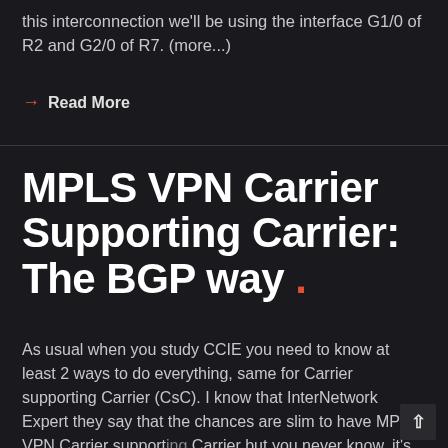this interconnection we'll be using the interface G1/0 of R2 and G2/0 of R7. (more...)
→ Read More
MPLS VPN Carrier Supporting Carrier: The BGP way .
As usual when you study CCIE you need to know at least 2 ways to do everything, same for Carrier supporting Carrier (CsC). I know that InterNetwork Expert they say that the chances are slim to have MPLS VPN Carrier supporting Carrier but you never know, it's not the biggest bit of study anyway. MPLS VPN Carrier supporting Carrier